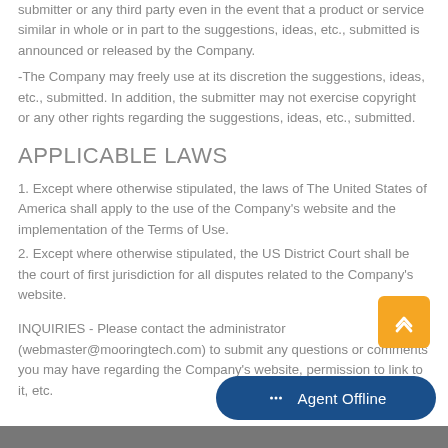submitter or any third party even in the event that a product or service similar in whole or in part to the suggestions, ideas, etc., submitted is announced or released by the Company.
-The Company may freely use at its discretion the suggestions, ideas, etc., submitted. In addition, the submitter may not exercise copyright or any other rights regarding the suggestions, ideas, etc., submitted.
APPLICABLE LAWS
1. Except where otherwise stipulated, the laws of The United States of America shall apply to the use of the Company's website and the implementation of the Terms of Use.
2. Except where otherwise stipulated, the US District Court shall be the court of first jurisdiction for all disputes related to the Company's website.
INQUIRIES - Please contact the administrator (webmaster@mooringtech.com) to submit any questions or comments you may have regarding the Company's website, permission to link to it, etc.